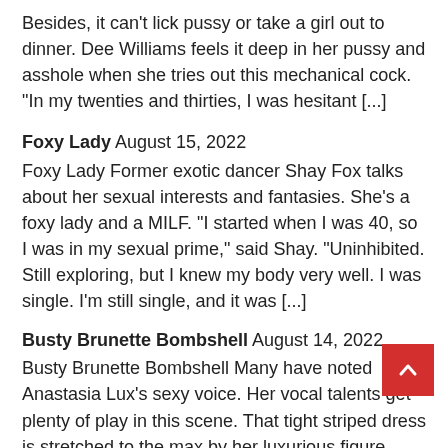Besides, it can't lick pussy or take a girl out to dinner. Dee Williams feels it deep in her pussy and asshole when she tries out this mechanical cock. "In my twenties and thirties, I was hesitant [...]
Foxy Lady August 15, 2022
Foxy Lady Former exotic dancer Shay Fox talks about her sexual interests and fantasies. She's a foxy lady and a MILF. "I started when I was 40, so I was in my sexual prime," said Shay. "Uninhibited. Still exploring, but I knew my body very well. I was single. I'm still single, and it was [...]
Busty Brunette Bombshell August 14, 2022
Busty Brunette Bombshell Many have noted Anastasia Lux's sexy voice. Her vocal talents get plenty of play in this scene. That tight striped dress is stretched to the max by her luxurious figure. Anastasia lowers the top of her dress and takes out her big 32H-cup tits. Her natural marvels are by large tawny [...]
Helena Hans: Eyewitness Fucking August 13, 2022